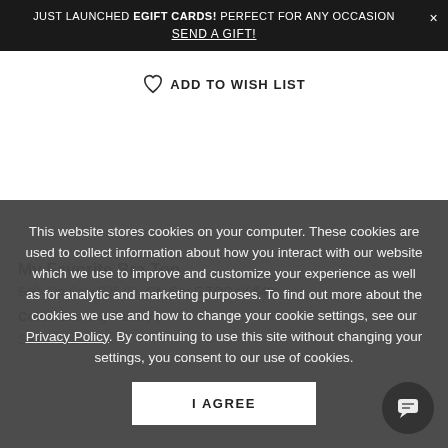JUST LAUNCHED EGIFT CARDS! PERFECT FOR ANY OCCASION × SEND A GIFT!
ADD TO WISH LIST
This website stores cookies on your computer. These cookies are used to collect information about how you interact with our website which we use to improve and customize your experience as well as for analytic and marketing purposes. To find out more about the cookies we use and how to change your cookie settings, see our Privacy Policy. By continuing to use this site without changing your settings, you consent to our use of cookies.
I AGREE
My Favorite Bra Top
$49   On Sale $25.00  ON SALE TODAY $49
Color: Evening Paisley (
Select Bra Si...